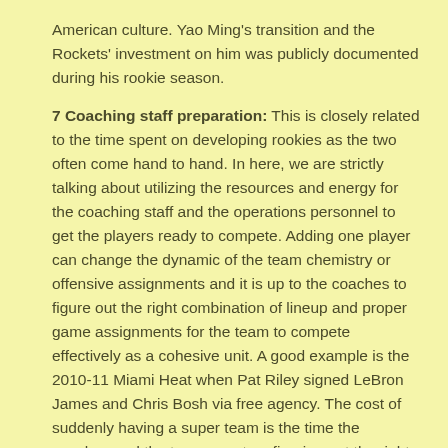American culture. Yao Ming's transition and the Rockets' investment on him was publicly documented during his rookie season.
7 Coaching staff preparation: This is closely related to the time spent on developing rookies as the two often come hand to hand. In here, we are strictly talking about utilizing the resources and energy for the coaching staff and the operations personnel to get the players ready to compete. Adding one player can change the dynamic of the team chemistry or offensive assignments and it is up to the coaches to figure out the right combination of lineup and proper game assignments for the team to compete effectively as a cohesive unit. A good example is the 2010-11 Miami Heat when Pat Riley signed LeBron James and Chris Bosh via free agency. The cost of suddenly having a super team is the time the coaches and the team spent on figuring out the right lineup. The team got off to a slow start